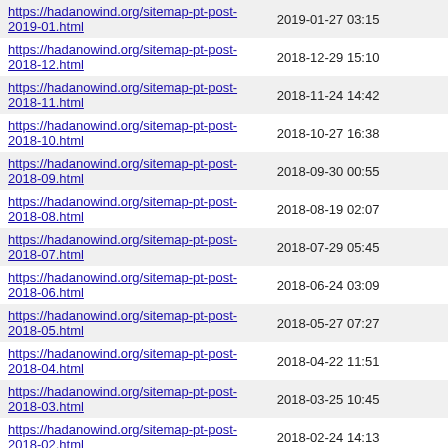| URL | Date |
| --- | --- |
| https://hadanowind.org/sitemap-pt-post-2019-01.html | 2019-01-27 03:15 |
| https://hadanowind.org/sitemap-pt-post-2018-12.html | 2018-12-29 15:10 |
| https://hadanowind.org/sitemap-pt-post-2018-11.html | 2018-11-24 14:42 |
| https://hadanowind.org/sitemap-pt-post-2018-10.html | 2018-10-27 16:38 |
| https://hadanowind.org/sitemap-pt-post-2018-09.html | 2018-09-30 00:55 |
| https://hadanowind.org/sitemap-pt-post-2018-08.html | 2018-08-19 02:07 |
| https://hadanowind.org/sitemap-pt-post-2018-07.html | 2018-07-29 05:45 |
| https://hadanowind.org/sitemap-pt-post-2018-06.html | 2018-06-24 03:09 |
| https://hadanowind.org/sitemap-pt-post-2018-05.html | 2018-05-27 07:27 |
| https://hadanowind.org/sitemap-pt-post-2018-04.html | 2018-04-22 11:51 |
| https://hadanowind.org/sitemap-pt-post-2018-03.html | 2018-03-25 10:45 |
| https://hadanowind.org/sitemap-pt-post-2018-02.html | 2018-02-24 14:13 |
| https://hadanowind.org/sitemap-pt-post-2018-01.html | 2018-01-21 12:02 |
| https://hadanowind.org/sitemap-pt-post-2017-12.html | 2017-12-19 23:39 |
| https://hadanowind.org/sitemap-pt-post-2017-11.html | 2017-11-29 15:00 |
| https://hadanowind.org/sitemap-pt-post-2017-10.html | 2017-10-17 12:08 |
| https://hadanowind.org/sitemap-pt-post-2017-09.html | 2017-09-24 03:00 |
| https://hadanowind.org/sitemap-pt-post-2017-08.html | 2017-08-19 23:00 |